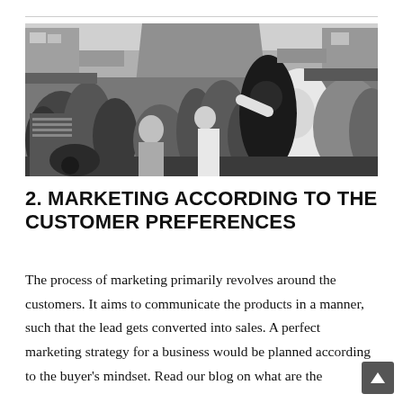[Figure (photo): Black and white photograph of a dense crowd of people in a busy outdoor market street, taken from street level looking down a narrow road with shops on both sides.]
2. MARKETING ACCORDING TO THE CUSTOMER PREFERENCES
The process of marketing primarily revolves around the customers. It aims to communicate the products in a manner, such that the lead gets converted into sales. A perfect marketing strategy for a business would be planned according to the buyer's mindset. Read our blog on what are the